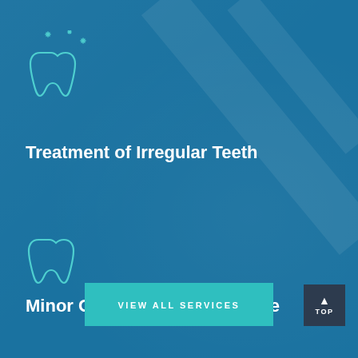[Figure (illustration): Tooth icon with sparkles/stars above it, rendered as a teal/cyan outline on blue background]
Treatment of Irregular Teeth
[Figure (illustration): Tooth icon outline, rendered as a teal/cyan outline on blue background]
Minor Oral Surgical Procedure
VIEW ALL SERVICES
TOP